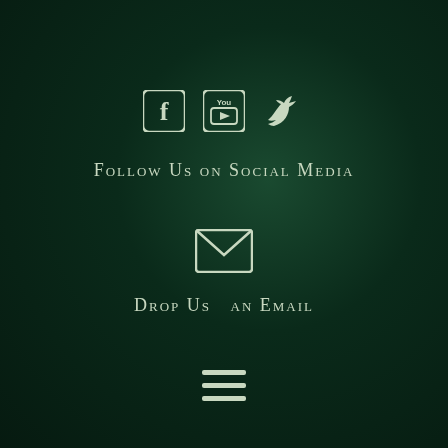[Figure (infographic): Three social media icons: Facebook, YouTube, and Twitter, rendered as white icons on dark green background]
Follow Us on Social Media
[Figure (infographic): Email envelope icon in white on dark green background]
Drop Us an Email
[Figure (infographic): Hamburger menu icon (three horizontal white lines) on dark green background]